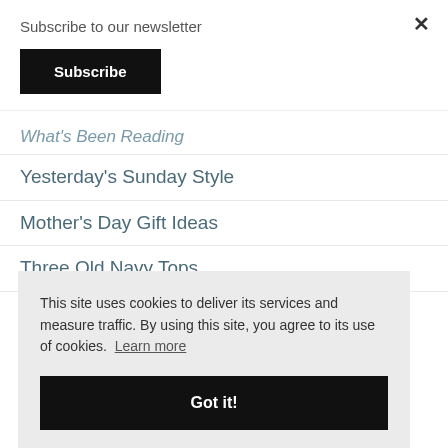Subscribe to our newsletter
Subscribe
×
What's Been Reading
Yesterday's Sunday Style
Mother's Day Gift Ideas
Three Old Navy Tops
This site uses cookies to deliver its services and measure traffic. By using this site, you agree to its use of cookies. Learn more
Got it!